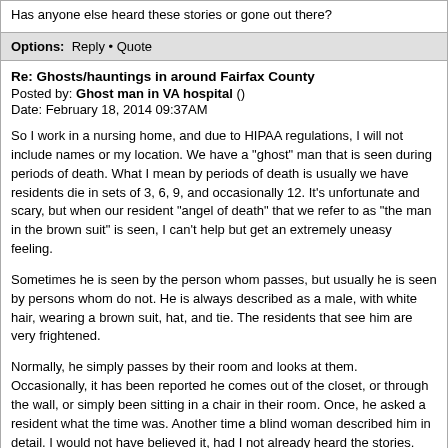Has anyone else heard these stories or gone out there?
Options:  Reply • Quote
Re: Ghosts/hauntings in around Fairfax County
Posted by: Ghost man in VA hospital ()
Date: February 18, 2014 09:37AM
So I work in a nursing home, and due to HIPAA regulations, I will not include names or my location. We have a "ghost" man that is seen during periods of death. What I mean by periods of death is usually we have residents die in sets of 3, 6, 9, and occasionally 12. It's unfortunate and scary, but when our resident "angel of death" that we refer to as "the man in the brown suit" is seen, I can't help but get an extremely uneasy feeling.
Sometimes he is seen by the person whom passes, but usually he is seen by persons whom do not. He is always described as a male, with white hair, wearing a brown suit, hat, and tie. The residents that see him are very frightened.
Normally, he simply passes by their room and looks at them. Occasionally, it has been reported he comes out of the closet, or through the wall, or simply been sitting in a chair in their room. Once, he asked a resident what the time was. Another time a blind woman described him in detail. I would not have believed it, had I not already heard the stories.
He is seen during all hours of the day, but more often at night; however, every time he is reported as being seen, someone passes away. Nurses and CNA's have seen him as well, like walk into a room, but then he is gone when they investigate. I personally have seen a shadow in the corner of my eye, but it disappears when I turn to look. For that I am thankful because I do not want to...